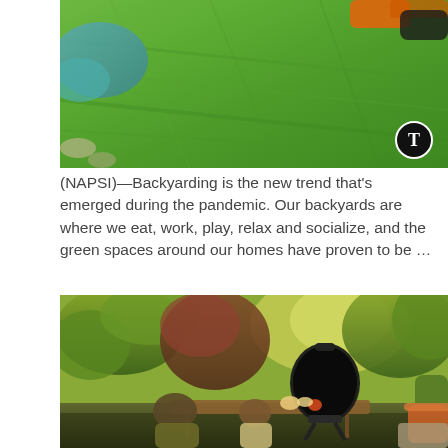[Figure (photo): Aerial view of green lawn/grass with a lawnmower visible at top, blue-green shrubs at left, stones visible. A circular logo (T in circle) overlaid at bottom right.]
(NAPSI)—Backyarding is the new trend that's emerged during the pandemic. Our backyards are where we eat, work, play, relax and socialize, and the green spaces around our homes have proven to be …
[Figure (photo): Outdoor backyard scene with lush trees and garden. A man and a child sit at a wooden table next to a large ceramic/kamado-style grill. Potted plants and pumpkins visible on stone surface. Warm sunlight filtering through trees.]